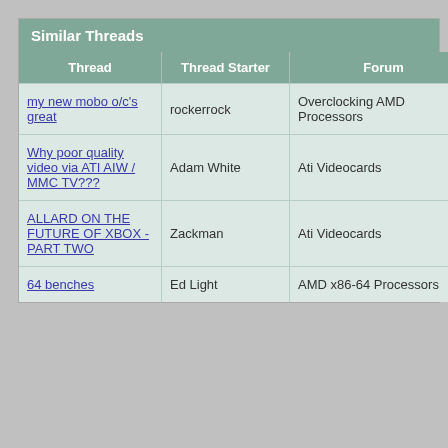Similar Threads
| Thread | Thread Starter | Forum | Replies |  |
| --- | --- | --- | --- | --- |
| my new mobo o/c's great | rockerrock | Overclocking AMD Processors | 9 | 0 |
| Why poor quality video via ATI AIW / MMC TV??? | Adam White | Ati Videocards | 2 | 0 |
| ALLARD ON THE FUTURE OF XBOX - PART TWO | Zackman | Ati Videocards | 2 | 0 |
| 64 benches | Ed Light | AMD x86-64 Processors | 2 | 0 |